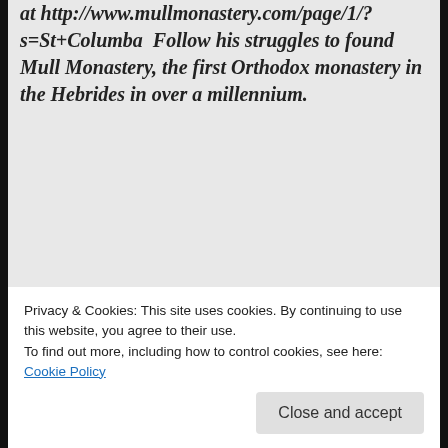at http://www.mullmonastery.com/page/1/?s=St+Columba  Follow his struggles to found Mull Monastery, the first Orthodox monastery in the Hebrides in over a millennium.
Share this:
[Figure (screenshot): Social sharing buttons: Tweet (Twitter/blue), Share 8 (Facebook/blue), Post (Tumblr/black), Save (Pinterest/red), Email (grey)]
Privacy & Cookies: This site uses cookies. By continuing to use this website, you agree to their use.
To find out more, including how to control cookies, see here:
Cookie Policy
Close and accept